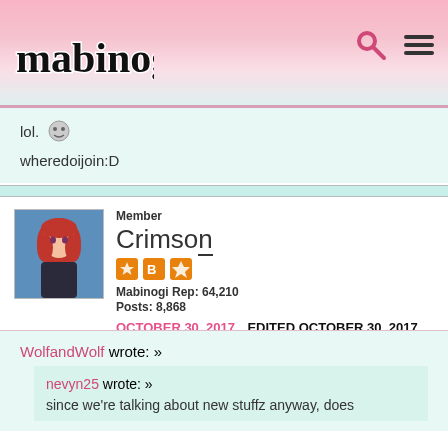mabinogi
lol. [emoji]
wheredoijoin:D
Member
Crimson
Mabinogi Rep: 64,210
Posts: 8,868
OCTOBER 30, 2017  EDITED OCTOBER 30, 2017
WolfandWolf wrote: »
  nevyn25 wrote: »
  since we're talking about new stuffz anyway, does